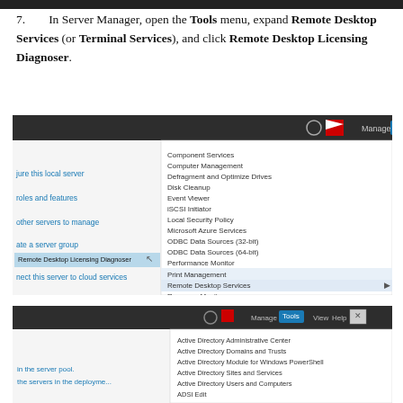7. In Server Manager, open the Tools menu, expand Remote Desktop Services (or Terminal Services), and click Remote Desktop Licensing Diagnoser.
[Figure (screenshot): Screenshot of Server Manager Tools menu expanded, showing menu items including Remote Desktop Services (highlighted), with Remote Desktop Licensing Diagnoser selected in the left panel.]
[Figure (screenshot): Screenshot of Server Manager Tools menu expanded showing Active Directory tools including Active Directory Administrative Center, Active Directory Domains and Trusts, Active Directory Module for Windows PowerShell, Active Directory Sites and Services, Active Directory Users and Computers, ADSI Edit.]